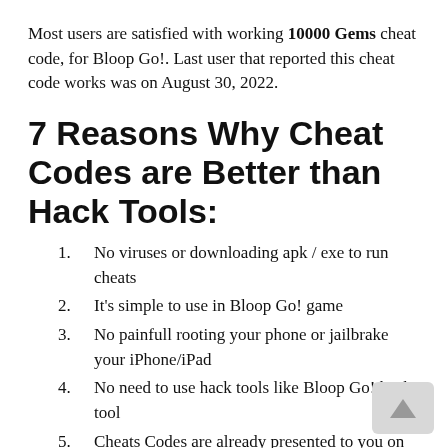Most users are satisfied with working 10000 Gems cheat code, for Bloop Go!. Last user that reported this cheat code works was on August 30, 2022.
7 Reasons Why Cheat Codes are Better than Hack Tools:
1. No viruses or downloading apk / exe to run cheats
2. It's simple to use in Bloop Go! game
3. No painfull rooting your phone or jailbrake your iPhone/iPad
4. No need to use hack tools like Bloop Go! hack tool
5. Cheats Codes are already presented to you on our website for Bloop Go!
6. (cut off at bottom)